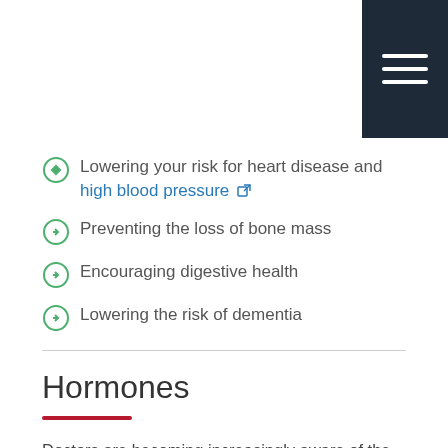[Figure (other): Dark navy hamburger menu button in top-right corner with three white horizontal bars]
Lowering your risk for heart disease and high blood pressure
Preventing the loss of bone mass
Encouraging digestive health
Lowering the risk of dementia
Hormones
Doctors are becoming increasingly aware of the role hormones play in aging. Some of the hormones that have an effect on aging include:
Thyroid gland hormones
Adrenal gland hormones
Melatonin